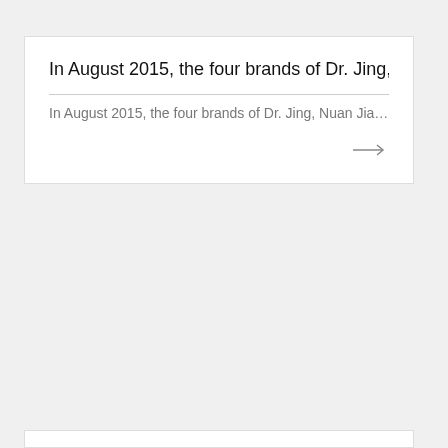In August 2015, the four brands of Dr. Jing, Nuan Jiale
In August 2015, the four brands of Dr. Jing, Nuan Jiale, …